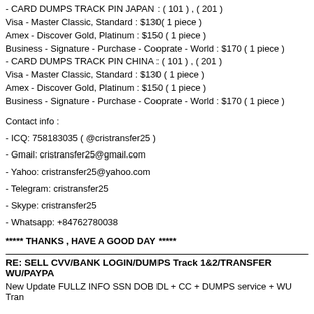- CARD DUMPS TRACK PIN JAPAN : ( 101 ) , ( 201 )
Visa - Master Classic, Standard : $130( 1 piece )
Amex - Discover Gold, Platinum : $150 ( 1 piece )
Business - Signature - Purchase - Cooprate - World : $170 ( 1 piece )
- CARD DUMPS TRACK PIN CHINA : ( 101 ) , ( 201 )
Visa - Master Classic, Standard : $130 ( 1 piece )
Amex - Discover Gold, Platinum : $150 ( 1 piece )
Business - Signature - Purchase - Cooprate - World : $170 ( 1 piece )
Contact info :
- ICQ: 758183035 ( @cristransfer25 )
- Gmail: cristransfer25@gmail.com
- Yahoo: cristransfer25@yahoo.com
- Telegram: cristransfer25
- Skype: cristransfer25
- Whatsapp: +84762780038
***** THANKS , HAVE A GOOD DAY *****
RE: SELL CVV/BANK LOGIN/DUMPS Track 1&2/TRANSFER WU/PAYPA
New Update FULLZ INFO SSN DOB DL + CC + DUMPS service + WU Tran